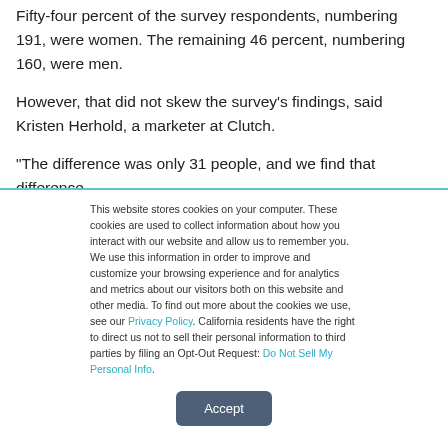Fifty-four percent of the survey respondents, numbering 191, were women. The remaining 46 percent, numbering 160, were men.
However, that did not skew the survey's findings, said Kristen Herhold, a marketer at Clutch.
“The difference was only 31 people, and we find that difference
This website stores cookies on your computer. These cookies are used to collect information about how you interact with our website and allow us to remember you. We use this information in order to improve and customize your browsing experience and for analytics and metrics about our visitors both on this website and other media. To find out more about the cookies we use, see our Privacy Policy. California residents have the right to direct us not to sell their personal information to third parties by filing an Opt-Out Request: Do Not Sell My Personal Info.